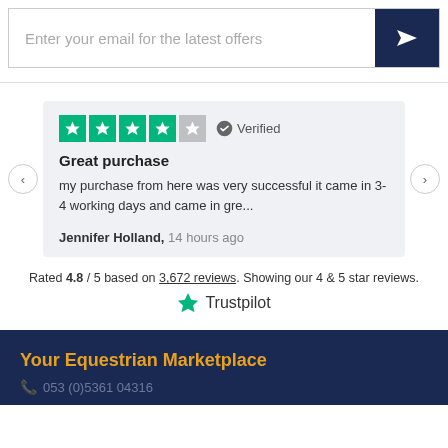Enter your email for the latest offers
[Figure (screenshot): Trustpilot review card showing 4 green stars and 1 grey star, Verified badge, review title 'Great purchase', review text about successful purchase arriving in 3-4 working days, reviewer name Jennifer Holland 14 hours ago, navigation arrows]
Rated 4.8 / 5 based on 3,672 reviews. Showing our 4 & 5 star reviews.
[Figure (logo): Trustpilot logo with green star]
Your Equestrian Marketplace